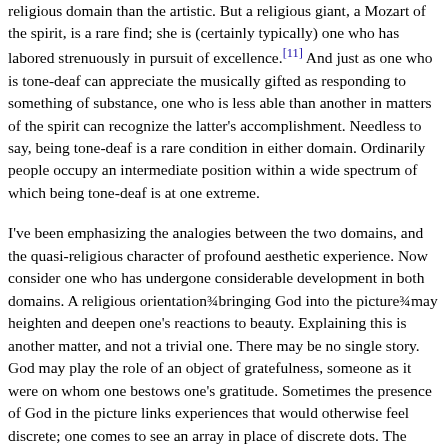religious domain than the artistic. But a religious giant, a Mozart of the spirit, is a rare find; she is (certainly typically) one who has labored strenuously in pursuit of excellence.[11] And just as one who is tone-deaf can appreciate the musically gifted as responding to something of substance, one who is less able than another in matters of the spirit can recognize the latter's accomplishment. Needless to say, being tone-deaf is a rare condition in either domain. Ordinarily people occupy an intermediate position within a wide spectrum of which being tone-deaf is at one extreme.
I've been emphasizing the analogies between the two domains, and the quasi-religious character of profound aesthetic experience. Now consider one who has undergone considerable development in both domains. A religious orientation¾bringing God into the picture¾may heighten and deepen one's reactions to beauty. Explaining this is another matter, and not a trivial one. There may be no single story. God may play the role of an object of gratefulness, someone as it were on whom one bestows one's gratitude. Sometimes the presence of God in the picture links experiences that would otherwise feel discrete; one comes to see an array in place of discrete dots. The points in the array seem to accrue added significance; aesthetic